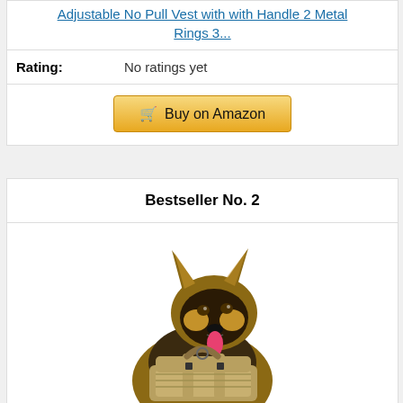Adjustable No Pull Vest with with Handle 2 Metal Rings 3...
Rating: No ratings yet
Buy on Amazon
Bestseller No. 2
[Figure (photo): German Shepherd dog wearing a tactical tan/coyote brown no-pull harness vest, standing alert facing forward against a white background]